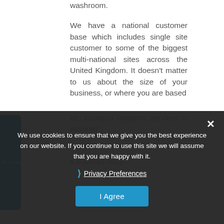washroom.
We have a national customer base which includes single site customer to some of the biggest multi-national sites across the United Kingdom. It doesn't matter to us about the size of your business, or where you are based
on. Cumbria Hygienic services is assured...hygiene services are a success story...
We use cookies to ensure that we give you the best experience on our website. If you continue to use this site we will assume that you are happy with it.
Privacy Preferences
I Agree